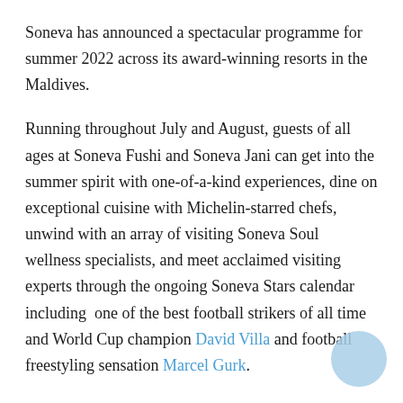Soneva has announced a spectacular programme for summer 2022 across its award-winning resorts in the Maldives.
Running throughout July and August, guests of all ages at Soneva Fushi and Soneva Jani can get into the summer spirit with one-of-a-kind experiences, dine on exceptional cuisine with Michelin-starred chefs, unwind with an array of visiting Soneva Soul wellness specialists, and meet acclaimed visiting experts through the ongoing Soneva Stars calendar including  one of the best football strikers of all time and World Cup champion David Villa and football freestyling sensation Marcel Gurk.
Helping guests stay cool throughout the summer, each of Soneva’s award-winning resorts in the Maldives features a 24/7, complimentary ice cream room, where guests can sample a cool selection of 60 homemade ice creams, plant-based nice creams and refreshing sorbets. This year, in honour of International Ice